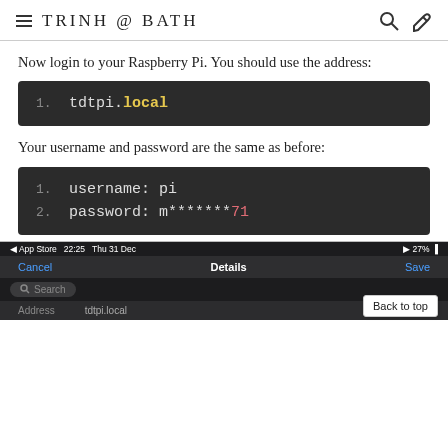TRINH @ BATH
Now login to your Raspberry Pi. You should use the address:
1.  tdtpi.local
Your username and password are the same as before:
1.  username: pi
2.  password: m*******71
[Figure (screenshot): iOS screenshot showing an app dialog with Cancel, Details, Save buttons, a Search field, and an Address row with value tdtpi.local. A 'Back to top' button is visible.]